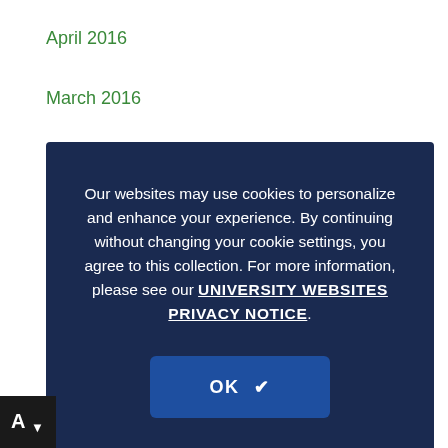April 2016
March 2016
February 2016
January 2016
December 2015
November 2015
October 2015
September 2015
April 2015
Our websites may use cookies to personalize and enhance your experience. By continuing without changing your cookie settings, you agree to this collection. For more information, please see our UNIVERSITY WEBSITES PRIVACY NOTICE.